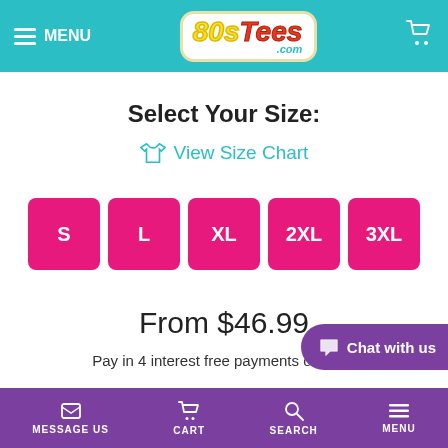MENU | 80sTees.com | Cart
Select Your Size:
View Size Chart
S
L
XL
2XL
3XL
From $46.99
Pay in 4 interest free payments of just $
Chat with us
MESSAGE US  CART  SEARCH  MENU